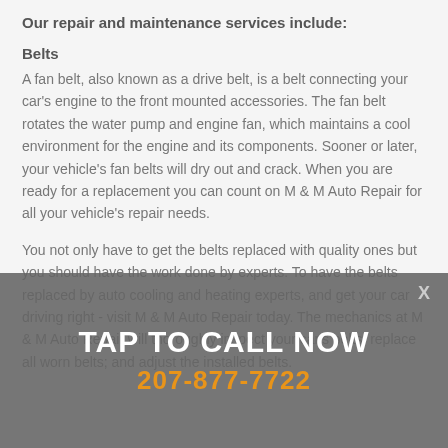Our repair and maintenance services include:
Belts
A fan belt, also known as a drive belt, is a belt connecting your car's engine to the front mounted accessories. The fan belt rotates the water pump and engine fan, which maintains a cool environment for the engine and its components. Sooner or later, your vehicle's fan belts will dry out and crack. When you are ready for a replacement you can count on M & M Auto Repair for all your vehicle's repair needs.
You not only have to get the belts replaced with quality ones but you should have the work done by experts. To have the belts replaced by auto cooling and heating experts, and get your car driving right - visit M & M Auto Repair today. The mechanics at M & M Auto Repair will thoroughly inspect your car's belts; replace all worn belts; and adjust the installed belts.
[Figure (infographic): Call-to-action overlay banner with 'TAP TO CALL NOW' in white text and phone number '207-877-7722' in orange text on a semi-transparent dark grey background, with an X close button in the top right corner.]